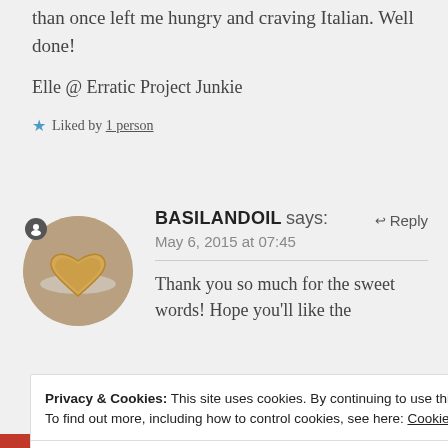than once left me hungry and craving Italian. Well done!
Elle @ Erratic Project Junkie
★ Liked by 1 person
BASILANDOIL says: May 6, 2015 at 07:45
Thank you so much for the sweet words! Hope you'll like the
Privacy & Cookies: This site uses cookies. By continuing to use this website, you agree to their use.
To find out more, including how to control cookies, see here: Cookie Policy
Close and accept